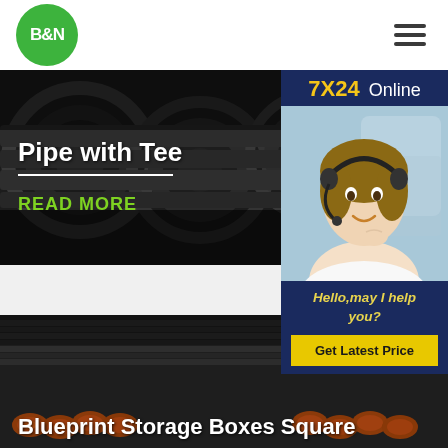[Figure (logo): B&N circular green logo in top-left header]
[Figure (illustration): Hamburger menu icon top-right header]
[Figure (photo): Dark steel pipes banner image with text overlay: Pipe with Tee, READ MORE]
[Figure (infographic): 7X24 Online customer support widget with photo of woman with headset, Hello may I help you text, and Get Latest Price button]
[Figure (photo): Steel pipes and rods stacked image with text: Blueprint Storage Boxes Square]